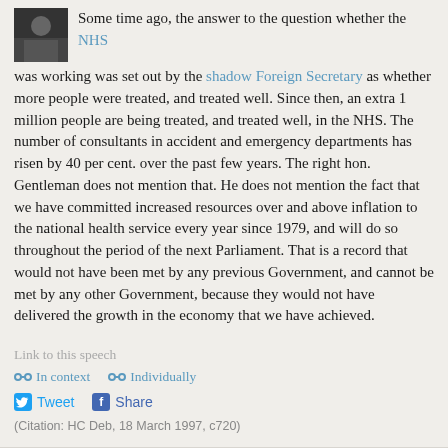Some time ago, the answer to the question whether the NHS was working was set out by the shadow Foreign Secretary as whether more people were treated, and treated well. Since then, an extra 1 million people are being treated, and treated well, in the NHS. The number of consultants in accident and emergency departments has risen by 40 per cent. over the past few years. The right hon. Gentleman does not mention that. He does not mention the fact that we have committed increased resources over and above inflation to the national health service every year since 1979, and will do so throughout the period of the next Parliament. That is a record that would not have been met by any previous Government, and cannot be met by any other Government, because they would not have delivered the growth in the economy that we have achieved.
Link to this speech
In context   Individually
Tweet   Share
(Citation: HC Deb, 18 March 1997, c720)
Tony Blair